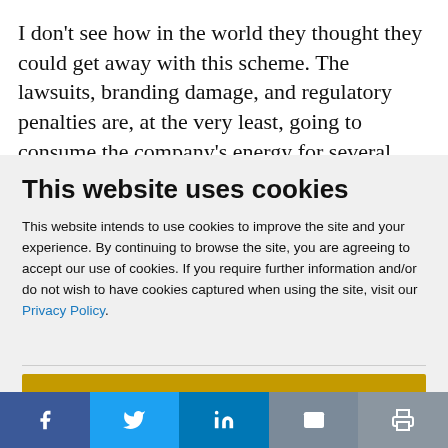I don't see how in the world they thought they could get away with this scheme. The lawsuits, branding damage, and regulatory penalties are, at the very least, going to consume the company's energy for several years. The chance exists that they could bring the
This website uses cookies
This website intends to use cookies to improve the site and your experience. By continuing to browse the site, you are agreeing to accept our use of cookies. If you require further information and/or do not wish to have cookies captured when using the site, visit our Privacy Policy.
ACCEPT COOKIES
[Figure (infographic): Social media share bar with Facebook, Twitter, LinkedIn, email, and print icons]